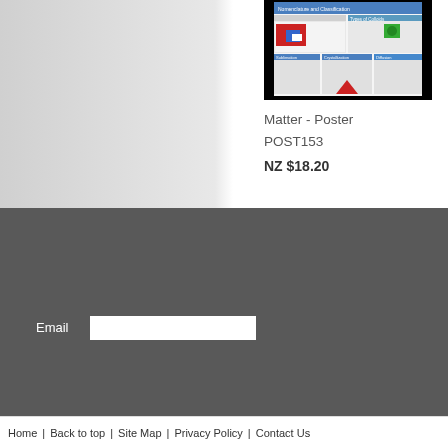[Figure (screenshot): Product image of a science poster about Matter, shown framed in black]
Matter - Poster
POST153
NZ $18.20
Email
Home | Back to top | Site Map | Privacy Policy | Contact Us